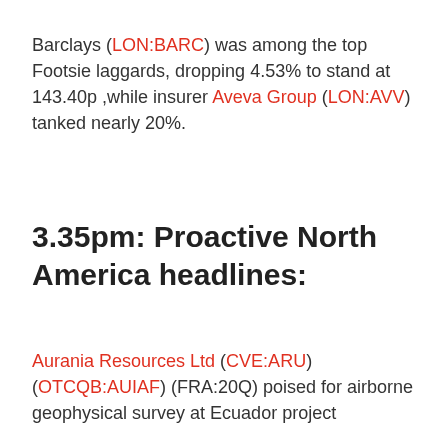Barclays (LON:BARC) was among the top Footsie laggards, dropping 4.53% to stand at 143.40p ,while insurer Aveva Group (LON:AVV) tanked nearly 20%.
3.35pm: Proactive North America headlines:
Aurania Resources Ltd (CVE:ARU) (OTCQB:AUIAF) (FRA:20Q) poised for airborne geophysical survey at Ecuador project